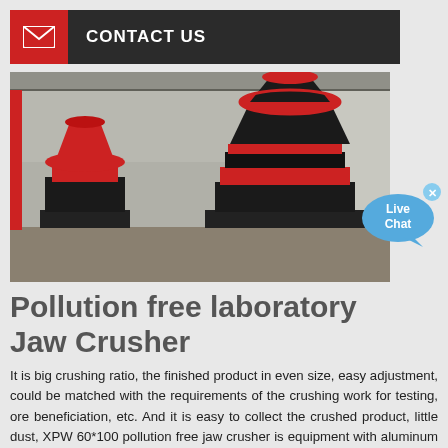CONTACT US
[Figure (photo): Two cone crushers (one smaller red and black unit on the left, one larger black and red unit on the right) sitting on metal frames inside an industrial factory building.]
Pollution free laboratory Jaw Crusher
It is big crushing ratio, the finished product in even size, easy adjustment, could be matched with the requirements of the crushing work for testing, ore beneficiation, etc. And it is easy to collect the crushed product, little dust, XPW 60*100 pollution free jaw crusher is equipment with aluminum oxide